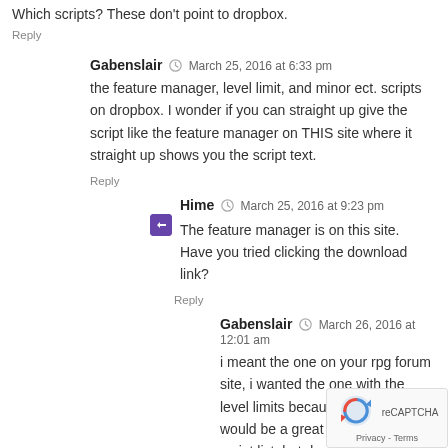Which scripts? These don't point to dropbox.
Reply
Gabenslair   March 25, 2016 at 6:33 pm
the feature manager, level limit, and minor ect. scripts on dropbox. I wonder if you can straight up give the script like the feature manager on THIS site where it straight up shows you the script text.
Reply
Hime   March 25, 2016 at 9:23 pm
The feature manager is on this site. Have you tried clicking the download link?
Reply
Gabenslair   March 26, 2016 at 12:01 am
i meant the one on your rpg forum site, i wanted the one with the level limits because I thought It would be a great addition to my script list, but dropbox is being sucky. I downloaded the feature manager but for the level conditions on the weapons/equip. thinking you can put it on the site like the feature